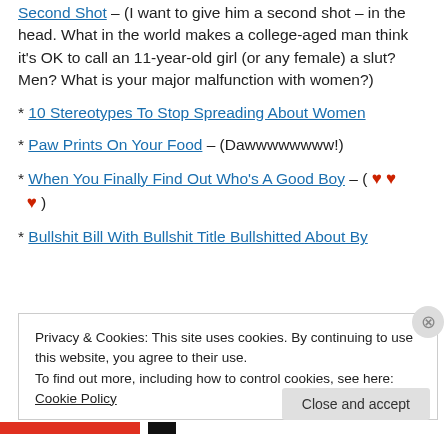Second Shot – (I want to give him a second shot – in the head. What in the world makes a college-aged man think it's OK to call an 11-year-old girl (or any female) a slut? Men? What is your major malfunction with women?)
* 10 Stereotypes To Stop Spreading About Women
* Paw Prints On Your Food – (Dawwwwwwww!)
* When You Finally Find Out Who's A Good Boy – ( ❤ ❤ ❤ )
* Bullshit Bill With Bullshit Title Bullshitted About By
Privacy & Cookies: This site uses cookies. By continuing to use this website, you agree to their use.
To find out more, including how to control cookies, see here: Cookie Policy